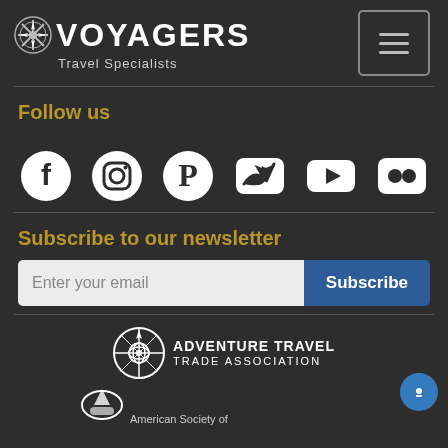[Figure (logo): Voyagers Travel Specialists logo with snowflake compass icon]
Follow us
[Figure (infographic): Social media icons: Facebook, Instagram, Pinterest, Twitter, YouTube, Flickr]
Subscribe to our newsletter
[Figure (screenshot): Email subscription form with input field and Subscribe button]
[Figure (logo): Adventure Travel Trade Association logo]
[Figure (logo): American Society of (ASTA) logo - partially visible]